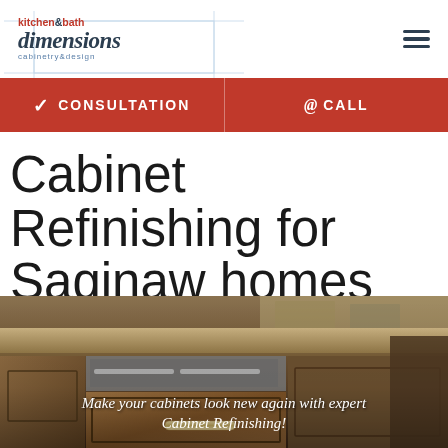kitchen&bath dimensions cabinetry&design
✓ CONSULTATION   @CALL
Cabinet Refinishing for Saginaw homes
[Figure (photo): Kitchen cabinet refinishing photo showing wooden cabinets with a stone countertop and pull drawer. Overlay text reads: Make your cabinets look new again with expert Cabinet Refinishing!]